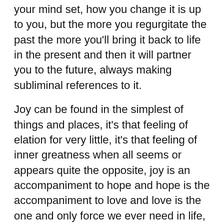your mind set, how you change it is up to you, but the more you regurgitate the past the more you'll bring it back to life in the present and then it will partner you to the future, always making subliminal references to it.

Joy can be found in the simplest of things and places, it's that feeling of elation for very little, it's that feeling of inner greatness when all seems or appears quite the opposite, joy is an accompaniment to hope and hope is the accompaniment to love and love is the one and only force we ever need in life, for without love life just collapses into a nothingness that we may find it hard to ever get out of. Joy is not in self help books or what others perceive, there are no technical formula's to love or joy, it's an intrinsic element that is fixed within us, but like everything emotional or mentally subjective in our body, it's a choice as to whether we utilise it or prefer to outsource our problems to others believing that their take on it or psycho babble will eradicate it all, it won't our minds are our domain and always will be so it's a choice as to make the best of it even if at times the best isn't really that good.  Joy is about seeing beauty and kindness, joy is appreciation, it's humility and not arrogance, joy is stability, joy is also the accompaniment to being thankful.